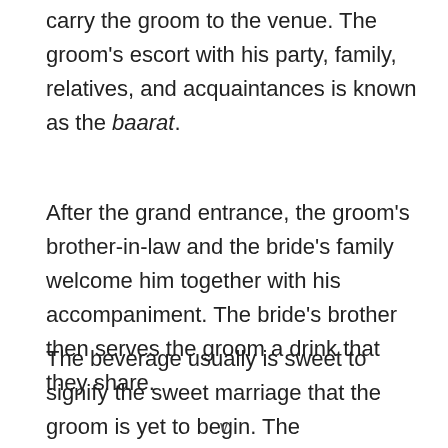carry the groom to the venue. The groom's escort with his party, family, relatives, and acquaintances is known as the baarat.
After the grand entrance, the groom's brother-in-law and the bride's family welcome him together with his accompaniment. The bride's brother then serves the groom a drink that they share.
The beverage usually is sweet to signify the sweet marriage that the groom is yet to begin. The
v